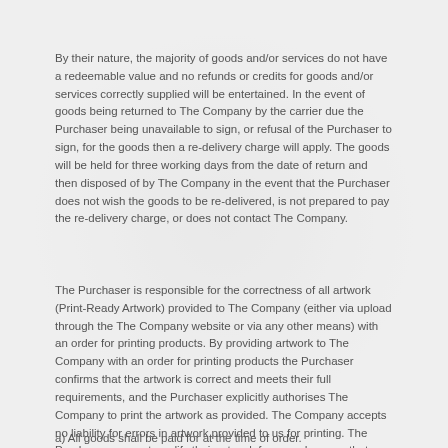By their nature, the majority of goods and/or services do not have a redeemable value and no refunds or credits for goods and/or services correctly supplied will be entertained. In the event of goods being returned to The Company by the carrier due the Purchaser being unavailable to sign, or refusal of the Purchaser to sign, for the goods then a re-delivery charge will apply. The goods will be held for three working days from the date of return and then disposed of by The Company in the event that the Purchaser does not wish the goods to be re-delivered, is not prepared to pay the re-delivery charge, or does not contact The Company.
The Purchaser is responsible for the correctness of all artwork (Print-Ready Artwork) provided to The Company (either via upload through the The Company website or via any other means) with an order for printing products. By providing artwork to The Company with an order for printing products the Purchaser confirms that the artwork is correct and meets their full requirements, and the Purchaser explicitly authorises The Company to print the artwork as provided. The Company accepts no liability for errors in artwork provided to us for printing. The Purchaser may not modify their artwork for an order once that order has entered the Print and Cut Process status.
a) All goods shall be paid for at the time of order.